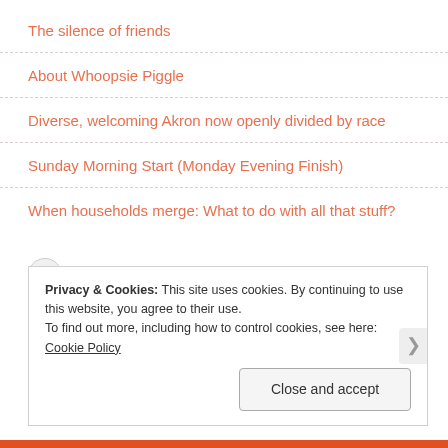The silence of friends
About Whoopsie Piggle
Diverse, welcoming Akron now openly divided by race
Sunday Morning Start (Monday Evening Finish)
When households merge: What to do with all that stuff?
[Figure (logo): Facebook logo icon (grey circle with settings/gear icon) followed by italic text 'Facebook']
Privacy & Cookies: This site uses cookies. By continuing to use this website, you agree to their use.
To find out more, including how to control cookies, see here: Cookie Policy
Close and accept